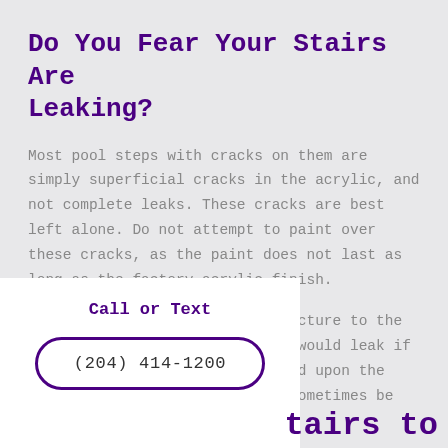Do You Fear Your Stairs Are Leaking?
Most pool steps with cracks on them are simply superficial cracks in the acrylic, and not complete leaks. These cracks are best left alone. Do not attempt to paint over these cracks, as the paint does not last as long as the factory acrylic finish.
A crack (like the one in the picture to the right) is large enough that it would leak if found below the waterline. Based upon the severity of the crack, it can sometimes be fixed.
Call or Text
(204) 414-1200
tairs to